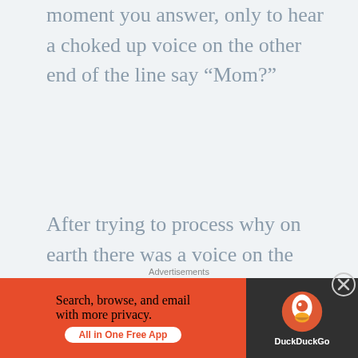moment you answer, only to hear a choked up voice on the other end of the line say “Mom?”
After trying to process why on earth there was a voice on the other end of the line that sounded exactly like my son in the MTC, and then realizing it WAS my son’s voice, calling from the MTC, my mind ran through approximately 10,000 thoughts in a period of .5 seconds before I managed to say, “What’s going on buddy?” (You have to ask,
Advertisements
[Figure (screenshot): DuckDuckGo advertisement banner: orange left side with text 'Search, browse, and email with more privacy. All in One Free App' and dark right side with DuckDuckGo logo and name.]